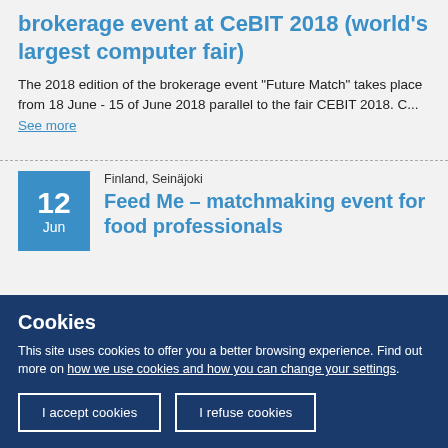brokerage event at CeBIT 2018 (world's largest computer fair)
The 2018 edition of the brokerage event "Future Match" takes place from 18 June - 15 of June 2018 parallel to the fair CEBIT 2018. C... See more
Finland, Seinäjoki
Feed Me - matchmaking event for food professionals
Cookies
This site uses cookies to offer you a better browsing experience. Find out more on how we use cookies and how you can change your settings.
I accept cookies
I refuse cookies